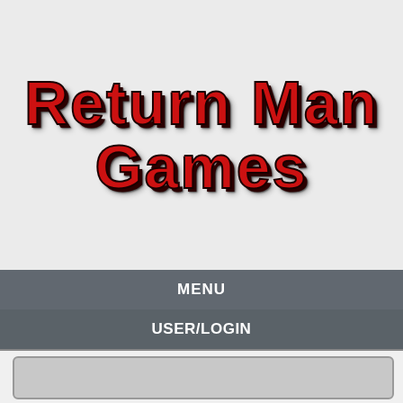Return Man Games
MENU
USER/LOGIN
[Figure (other): Empty grey content panel/box with rounded corners below USER/LOGIN bar]